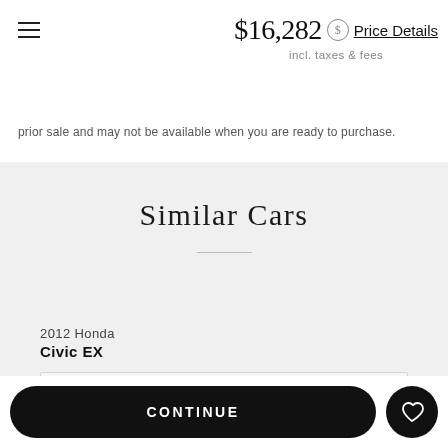$16,282 Price Details incl. taxes & fees
prior sale and may not be available when you are ready to purchase.
Similar Cars
2012 Honda Civic EX
[Figure (photo): Car image placeholder for 2012 Honda Civic EX]
CONTINUE